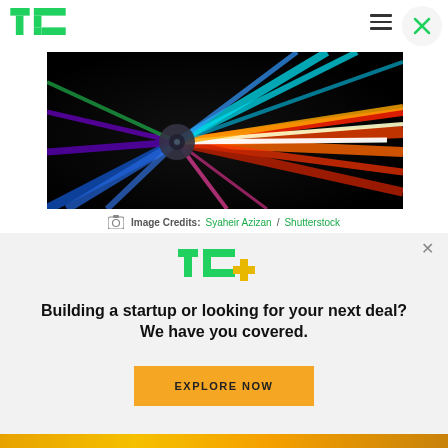[Figure (logo): TechCrunch TC green logo in header]
[Figure (photo): Abstract colorful light streaks radiating from center on dark background, speed/motion concept]
Image Credits: Syaheir Azizan / Shutterstock
[Figure (logo): TC+ green and yellow logo for TechCrunch Plus promotional banner]
Building a startup or looking for your next deal? We have you covered.
EXPLORE NOW